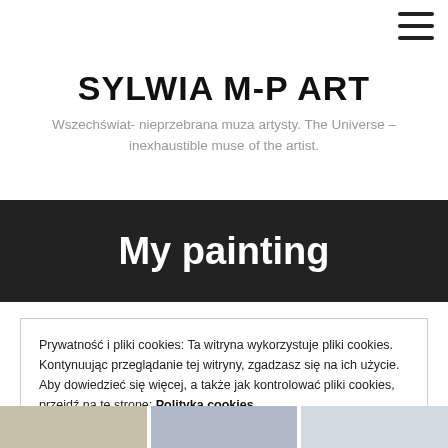SYLWIA M-P ART
SYLWIA M-P ART
Wszechświat- nieprzebrana muza artysty. The Universe – inexhaustible muse of the artist.
My painting
Prywatność i pliki cookies: Ta witryna wykorzystuje pliki cookies. Kontynuując przeglądanie tej witryny, zgadzasz się na ich użycie. Aby dowiedzieć się więcej, a także jak kontrolować pliki cookies, przejdź na tę stronę: Polityka cookies
[Figure (photo): Bottom strip showing three partial painting images]